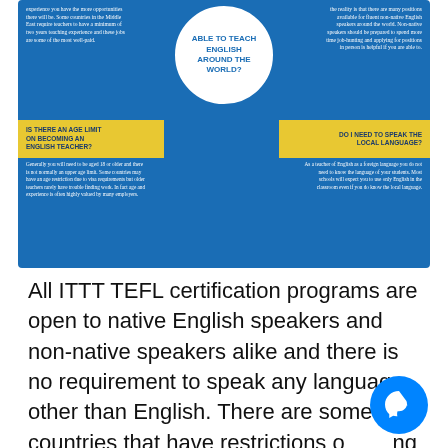[Figure (infographic): Blue infographic about teaching English around the world. Contains circular center graphic with title 'ABLE TO TEACH ENGLISH AROUND THE WORLD?', left column text about teaching experience requirements, right column text about non-native English speaker positions, yellow banner on left 'IS THERE AN AGE LIMIT ON BECOMING AN ENGLISH TEACHER?', yellow banner on right 'DO I NEED TO SPEAK THE LOCAL LANGUAGE?', lower left text about age requirements, lower right text about speaking local language.]
All ITTT TEFL certification programs are open to native English speakers and non-native speakers alike and there is no requirement to speak any language other than English. There are some countries that have restrictions on hiring non-native English speakers, there are also many fascinating countries throughout the world that do not. Regardless of which country you would prefer to live and work in, you do not need to be familiar with any other